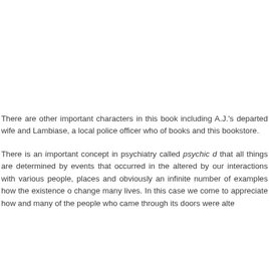There are other important characters in this book including A.J.'s departed wife and Lambiase, a local police officer who of books and this bookstore.
There is an important concept in psychiatry called psychic d that all things are determined by events that occurred in the altered by our interactions with various people, places and obviously an infinite number of examples how the existence o change many lives. In this case we come to appreciate how and many of the people who came through its doors were alte